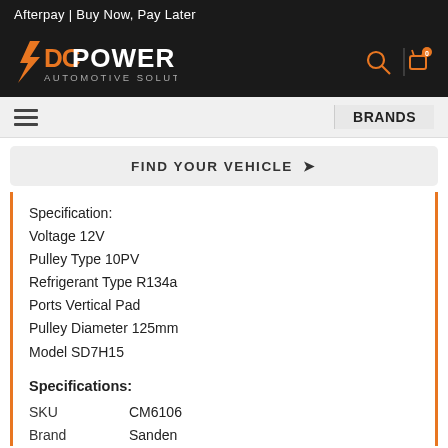Afterpay | Buy Now, Pay Later
[Figure (logo): DC Power Automotive Solutions logo in orange and white on dark background]
BRANDS
FIND YOUR VEHICLE
Specification:
Voltage 12V
Pulley Type 10PV
Refrigerant Type R134a
Ports Vertical Pad
Pulley Diameter 125mm
Model SD7H15
Specifications:
| Field | Value |
| --- | --- |
| SKU | CM6106 |
| Brand | Sanden |